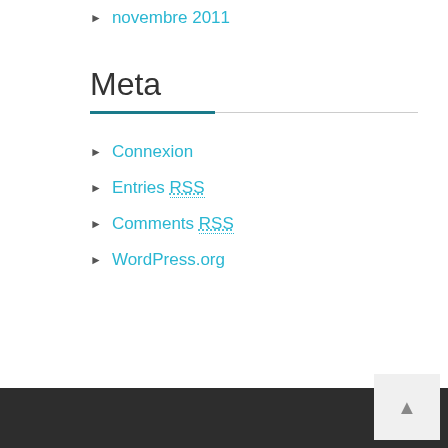novembre 2011
Meta
Connexion
Entries RSS
Comments RSS
WordPress.org